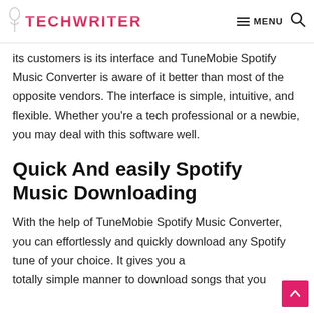TECHWRITER — MENU
its customers is its interface and TuneMobie Spotify Music Converter is aware of it better than most of the opposite vendors. The interface is simple, intuitive, and flexible. Whether you're a tech professional or a newbie, you may deal with this software well.
Quick And easily Spotify Music Downloading
With the help of TuneMobie Spotify Music Converter, you can effortlessly and quickly download any Spotify tune of your choice. It gives you a totally simple manner to download songs that you